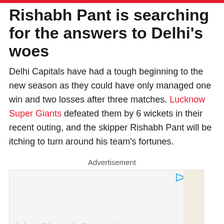Rishabh Pant is searching for the answers to Delhi's woes
Delhi Capitals have had a tough beginning to the new season as they could have only managed one win and two losses after three matches. Lucknow Super Giants defeated them by 6 wickets in their recent outing, and the skipper Rishabh Pant will be itching to turn around his team's fortunes.
Advertisement
[Figure (other): Advertisement banner with cloud security related content, showing play and close icons in top right corner, and a right-side decorative strip in beige color.]